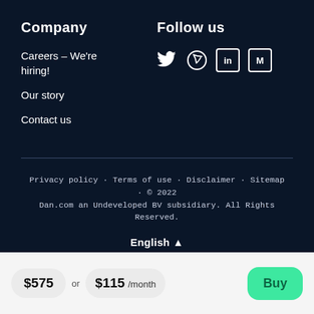Company
Careers – We're hiring!
Our story
Contact us
Follow us
[Figure (other): Social media icons: Twitter, Dribbble, LinkedIn, Medium]
Privacy policy · Terms of use · Disclaimer · Sitemap · © 2022 Dan.com an Undeveloped BV subsidiary. All Rights Reserved.
English ▲
$575  or  $115 /month  Buy